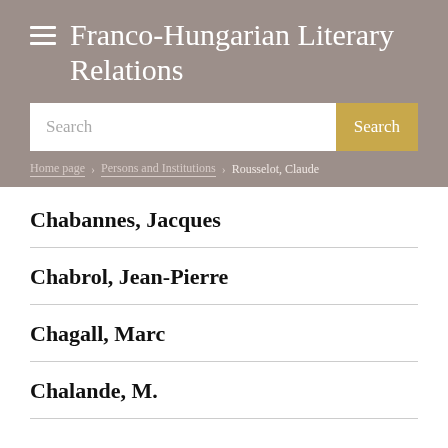Franco-Hungarian Literary Relations
Search
Home page > Persons and Institutions > Rousselot, Claude
Chabannes, Jacques
Chabrol, Jean-Pierre
Chagall, Marc
Chalande, M.